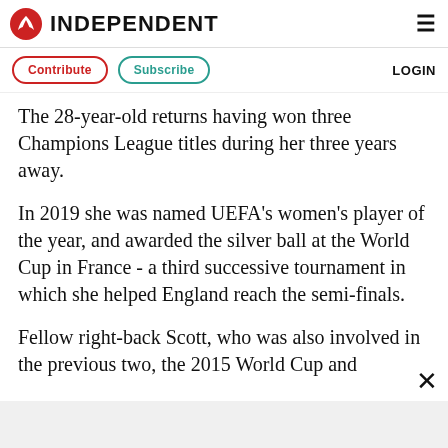INDEPENDENT
Contribute  Subscribe  LOGIN
The 28-year-old returns having won three Champions League titles during her three years away.
In 2019 she was named UEFA's women's player of the year, and awarded the silver ball at the World Cup in France - a third successive tournament in which she helped England reach the semi-finals.
Fellow right-back Scott, who was also involved in the previous two, the 2015 World Cup and